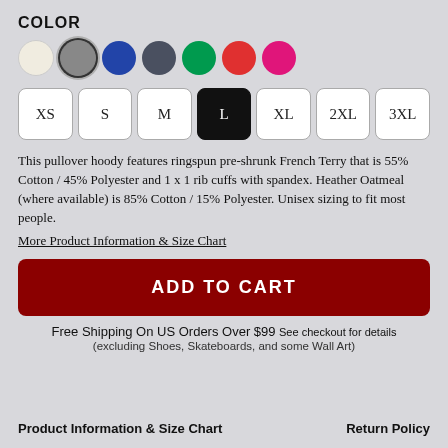COLOR
[Figure (other): Color swatches: white (cream), gray (selected with ring), blue, dark gray/slate, green, red, hot pink]
[Figure (other): Size selector buttons: XS, S, M, L (selected/black), XL, 2XL, 3XL]
This pullover hoody features ringspun pre-shrunk French Terry that is 55% Cotton / 45% Polyester and 1 x 1 rib cuffs with spandex. Heather Oatmeal (where available) is 85% Cotton / 15% Polyester. Unisex sizing to fit most people.
More Product Information & Size Chart
ADD TO CART
Free Shipping On US Orders Over $99 See checkout for details
(excluding Shoes, Skateboards, and some Wall Art)
Product Information & Size Chart    Return Policy